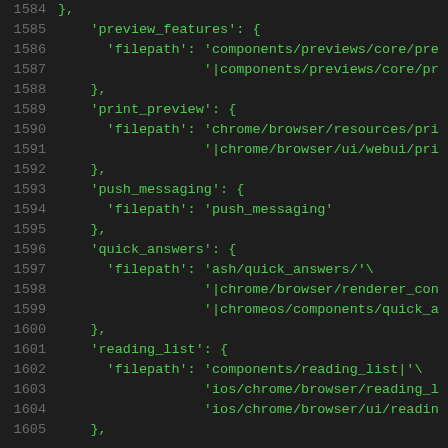Source code listing, lines 1584-1605, showing Python/config dictionary entries for preview_features, print_preview, push_messaging, quick_answers, and reading_list with their filepath values.